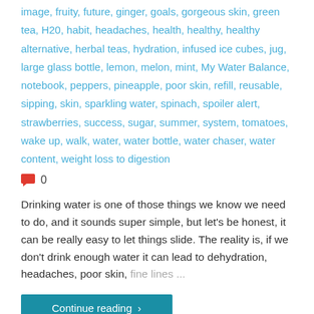image, fruity, future, ginger, goals, gorgeous skin, green tea, H20, habit, headaches, health, healthy, healthy alternative, herbal teas, hydration, infused ice cubes, jug, large glass bottle, lemon, melon, mint, My Water Balance, notebook, peppers, pineapple, poor skin, refill, reusable, sipping, skin, sparkling water, spinach, spoiler alert, strawberries, success, sugar, summer, system, tomatoes, wake up, walk, water, water bottle, water chaser, water content, weight loss to digestion
0 (comment count)
Drinking water is one of those things we know we need to do, and it sounds super simple, but let's be honest, it can be really easy to let things slide. The reality is, if we don't drink enough water it can lead to dehydration, headaches, poor skin, fine lines ...
Continue reading >